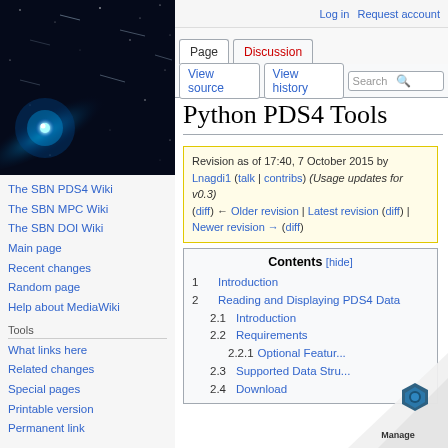[Figure (photo): Space/comet photo, dark background with bright comet and star trails]
The SBN PDS4 Wiki
The SBN MPC Wiki
The SBN DOI Wiki
Main page
Recent changes
Random page
Help about MediaWiki
Tools
What links here
Related changes
Special pages
Printable version
Permanent link
Log in  Request account
Python PDS4 Tools
Revision as of 17:40, 7 October 2015 by Lnagdi1 (talk | contribs) (Usage updates for v0.3)
(diff) ← Older revision | Latest revision (diff) | Newer revision → (diff)
| # | Contents |
| --- | --- |
| 1 | Introduction |
| 2 | Reading and Displaying PDS4 Data |
| 2.1 | Introduction |
| 2.2 | Requirements |
| 2.2.1 | Optional Features |
| 2.3 | Supported Data Structures |
| 2.4 | Download |